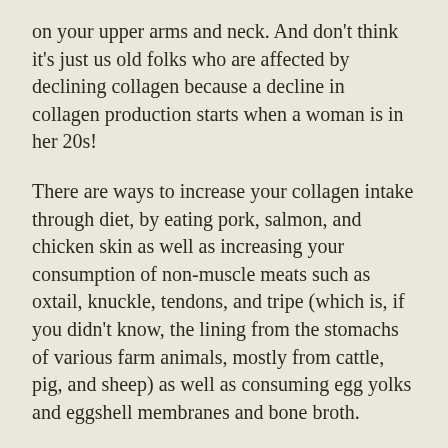on your upper arms and neck. And don't think it's just us old folks who are affected by declining collagen because a decline in collagen production starts when a woman is in her 20s!
There are ways to increase your collagen intake through diet, by eating pork, salmon, and chicken skin as well as increasing your consumption of non-muscle meats such as oxtail, knuckle, tendons, and tripe (which is, if you didn't know, the lining from the stomachs of various farm animals, mostly from cattle, pig, and sheep) as well as consuming egg yolks and eggshell membranes and bone broth.
Most folks don't eat too much (if any!) of most of these foods so it's not surprising that you are likely not getting enough collagen in your diet. If that's